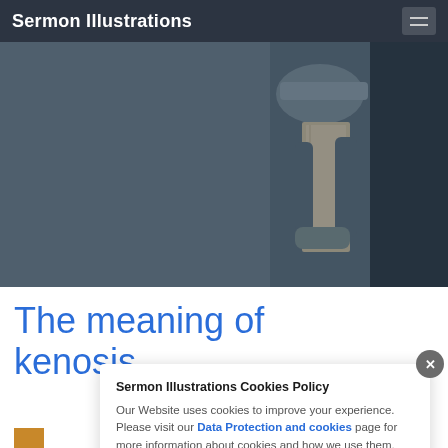Sermon Illustrations
[Figure (photo): A person holding a large book, photographed from behind, wearing a cap, against a grey background. Dark blue-grey toned hero image.]
The meaning of kenosis
Sermon Illustrations Cookies Policy

Our Website uses cookies to improve your experience. Please visit our Data Protection and cookies page for more information about cookies and how we use them.